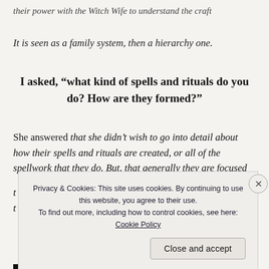their power with the Witch Wife to understand the craft
It is seen as a family system, then a hierarchy one.
I asked, “what kind of spells and rituals do you do? How are they formed?”
She answered that she didn’t wish to go into detail about how their spells and rituals are created, or all of the spellwork that they do. But, that generally they are focused
t
t
Privacy & Cookies: This site uses cookies. By continuing to use this website, you agree to their use. To find out more, including how to control cookies, see here: Cookie Policy
Close and accept